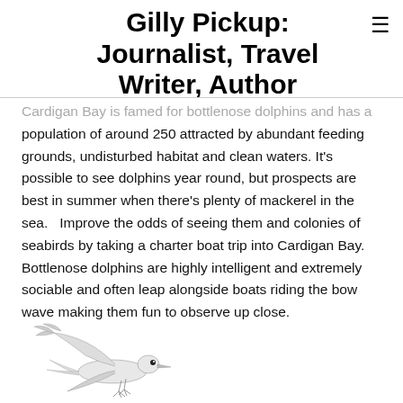Gilly Pickup: Journalist, Travel Writer, Author
Cardigan Bay is famed for bottlenose dolphins and has a population of around 250 attracted by abundant feeding grounds, undisturbed habitat and clean waters. It's possible to see dolphins year round, but prospects are best in summer when there's plenty of mackerel in the sea.   Improve the odds of seeing them and colonies of seabirds by taking a charter boat trip into Cardigan Bay. Bottlenose dolphins are highly intelligent and extremely sociable and often leap alongside boats riding the bow wave making them fun to observe up close.
[Figure (illustration): A seabird in flight, illustrated in black and white, appearing to be a tern or gannet with wings spread.]